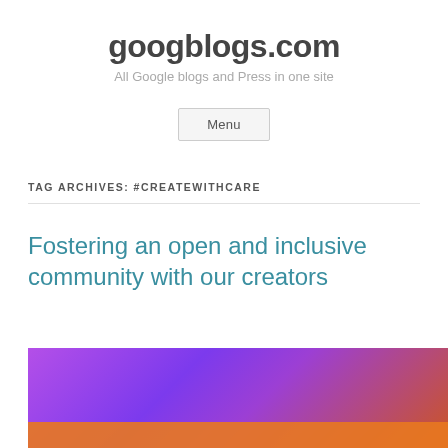googblogs.com
All Google blogs and Press in one site
Menu
TAG ARCHIVES: #CREATEWITHCARE
Fostering an open and inclusive community with our creators
[Figure (photo): Purple and orange gradient promotional image with text partially visible at bottom]